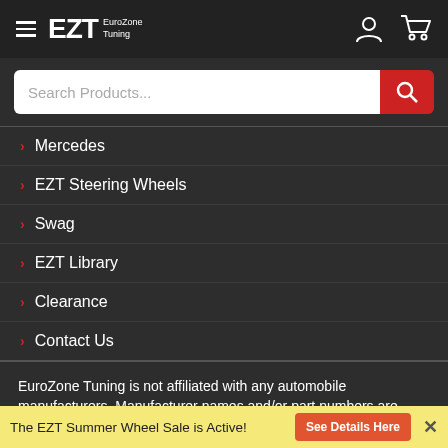[Figure (logo): EZT EuroZone Tuning logo with hamburger menu icon, user icon, and cart icon on dark header bar]
[Figure (screenshot): Search bar with 'Search Products...' placeholder and red search button]
Mercedes
EZT Steering Wheels
Swag
EZT Library
Clearance
Contact Us
EuroZone Tuning is not affiliated with any automobile manufacturers. Manufacturer names and/or part numbers are used only for identification purposes.
[Figure (infographic): Row of payment method logos: American Express, Discover, Visa, MasterCard, Maestro, Cirrus, PayPal, Google]
The EZT Summer Wheel Sale is Active!  See Details Here  ×